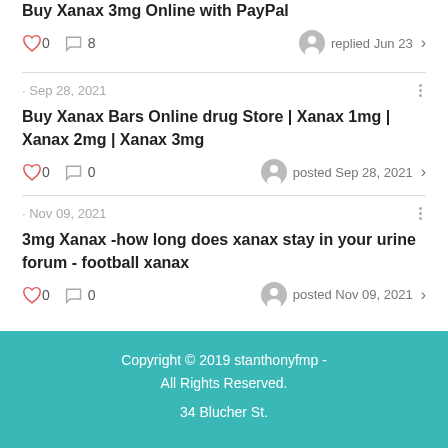Buy Xanax 3mg Online with PayPal
0  8   replied Jun 23
· Sep 28, 2021
Buy Xanax Bars Online drug Store | Xanax 1mg | Xanax 2mg | Xanax 3mg
0  0   posted Sep 28, 2021
· Nov 09, 2021
3mg Xanax -how long does xanax stay in your urine forum - football xanax
0  0   posted Nov 09, 2021
Copyright © 2019 stanthonyfmp - All Rights Reserved.

34 Blucher St.